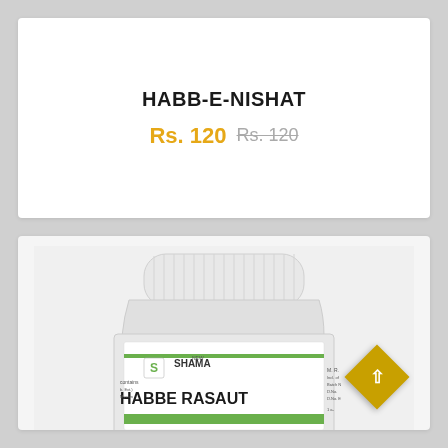HABB-E-NISHAT
Rs. 120  Rs. 120
[Figure (photo): White plastic pill/tablet bottle with a white screw cap. The label reads 'SHAMA NEW' with logo and 'HABBE RASAUT' in large bold text. Partial label text visible including ingredient and batch information. Green horizontal stripe on label.]